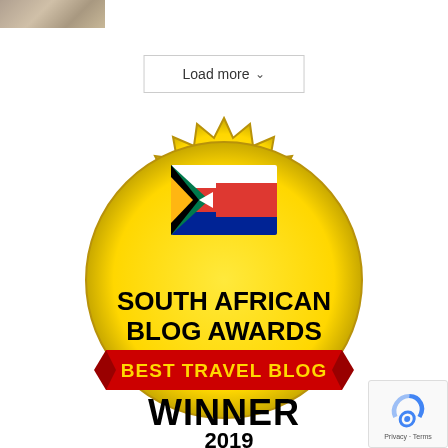[Figure (photo): Partial thumbnail image of animals at top-left corner]
[Figure (other): Load more button with dropdown arrow]
[Figure (illustration): South African Blog Awards Best Travel Blog Winner 2019 gold seal badge with South African flag]
[Figure (other): Google reCAPTCHA badge in bottom-right corner showing Privacy and Terms links]